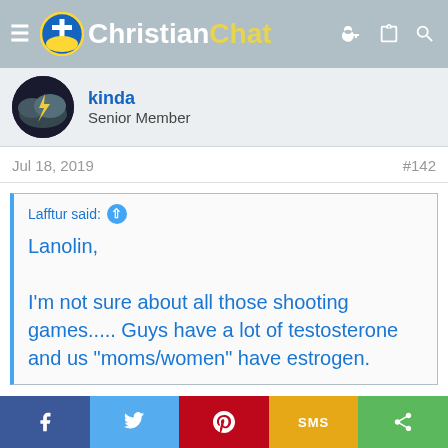ChristianChat
kinda
Senior Member
Jul 18, 2019   #142
Lafftur said: ↑

Lanolin,

I'm not sure about all those shooting games..... Guys have a lot of testosterone and us "moms/women" have estrogen.
Mom alert. Look out.
[Figure (illustration): Yellow warning sign with black triangle and arrow/caution symbol]
f  Twitter  Pinterest  SMS  Share